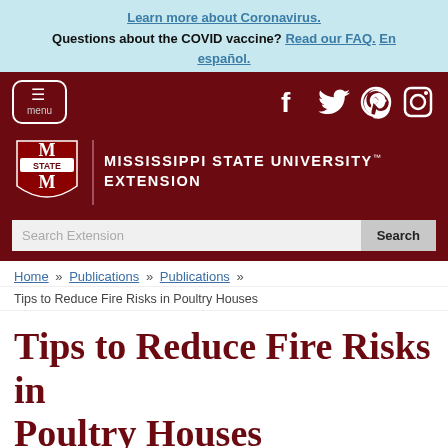Learn more about Coronavirus. Questions about the COVID vaccine? Read our FAQ. En español.
[Figure (logo): Mississippi State University Extension logo with MSU shield and wordmark, menu button, and social media icons (Facebook, Twitter, Pinterest, Instagram) on dark red background, with search bar below]
Home » Publications » Publications »
Tips to Reduce Fire Risks in Poultry Houses
Tips to Reduce Fire Risks in Poultry Houses